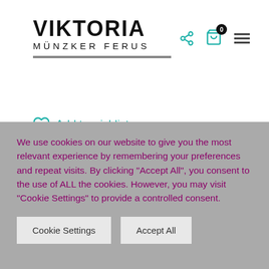VIKTORIA MÜNZKER FERUS
Add to wishlist
Category: Bracelets
Tags: bangle, blue, cycles of nature, red, yellow
SHARE THIS:
We use cookies on our website to give you the most relevant experience by remembering your preferences and repeat visits. By clicking "Accept All", you consent to the use of ALL the cookies. However, you may visit "Cookie Settings" to provide a controlled consent.